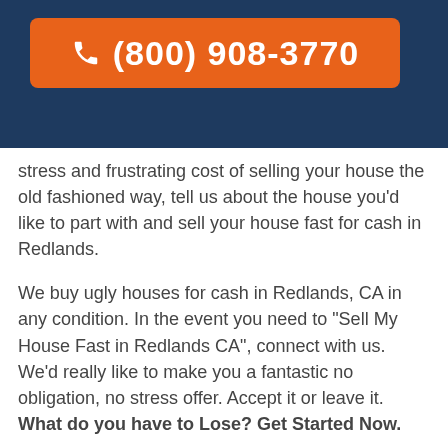[Figure (other): Dark navy blue header banner with a phone number call-to-action button]
stress and frustrating cost of selling your house the old fashioned way, tell us about the house you'd like to part with and sell your house fast for cash in Redlands.
We buy ugly houses for cash in Redlands, CA in any condition. In the event you need to "Sell My House Fast in Redlands CA", connect with us. We'd really like to make you a fantastic no obligation, no stress offer. Accept it or leave it. What do you have to Lose? Get Started Now.